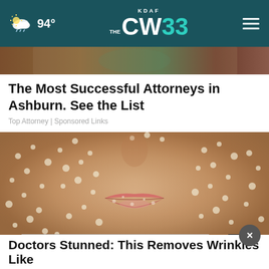KDAF CW 33 — 94°
[Figure (screenshot): Partial image at top, brownish/green tones, cropped]
The Most Successful Attorneys in Ashburn. See the List
Top Attorney | Sponsored Links
[Figure (photo): Close-up photo of a face covered in what appears to be sugar or salt scrub, with visible lips]
[Figure (screenshot): Ad overlay: BELONGING BEGINS WITH US — Ad Council]
Doctors Stunned: This Removes Wrinkles Like